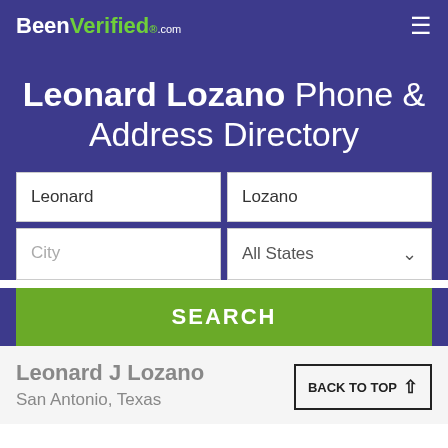BeenVerified.com
Leonard Lozano Phone & Address Directory
Leonard | Lozano
City | All States
SEARCH
Leonard J Lozano
San Antonio, Texas
BACK TO TOP